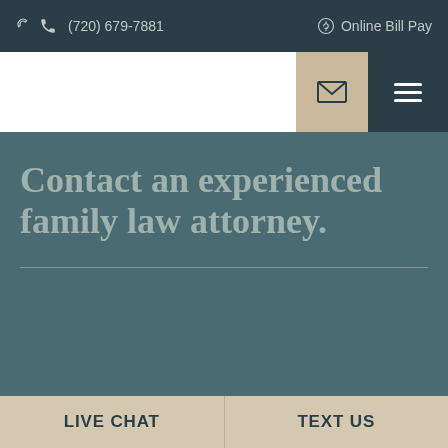📞 (720) 679-7881    $ Online Bill Pay
[Figure (screenshot): Navigation bar with email envelope icon button and hamburger menu button]
Contact an experienced family law attorney.
LIVE CHAT    TEXT US